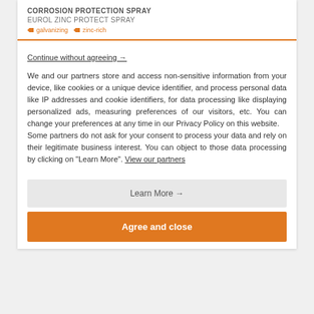CORROSION PROTECTION SPRAY
EUROL ZINC PROTECT SPRAY
galvanizing   zinc-rich
Continue without agreeing →
We and our partners store and access non-sensitive information from your device, like cookies or a unique device identifier, and process personal data like IP addresses and cookie identifiers, for data processing like displaying personalized ads, measuring preferences of our visitors, etc. You can change your preferences at any time in our Privacy Policy on this website.
Some partners do not ask for your consent to process your data and rely on their legitimate business interest. You can object to those data processing by clicking on "Learn More". View our partners
Learn More →
Agree and close